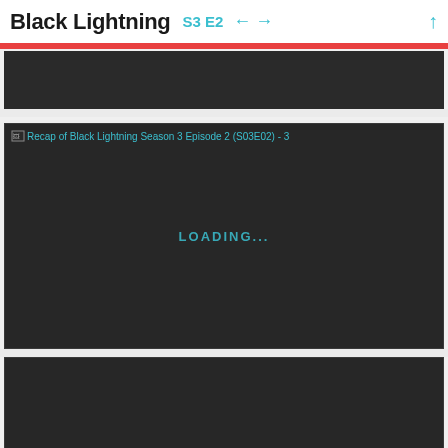Black Lightning S3 E2 ← → ↑
[Figure (screenshot): Dark loading image placeholder, first image block]
[Figure (screenshot): Large dark loading image block with alt text 'Recap of Black Lightning Season 3 Episode 2 (S03E02) - 3' and LOADING... text in center]
[Figure (screenshot): Dark loading image placeholder, third image block with dim LOADING... text]